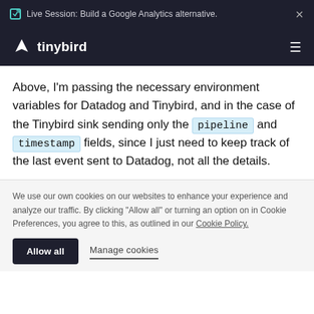Live Session: Build a Google Analytics alternative.
tinybird
Above, I'm passing the necessary environment variables for Datadog and Tinybird, and in the case of the Tinybird sink sending only the pipeline and timestamp fields, since I just need to keep track of the last event sent to Datadog, not all the details.
We use our own cookies on our websites to enhance your experience and analyze our traffic. By clicking “Allow all” or turning an option on in Cookie Preferences, you agree to this, as outlined in our Cookie Policy.
Allow all   Manage cookies